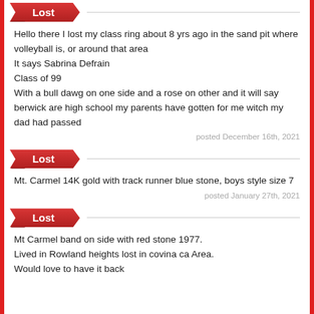Lost
Hello there I lost my class ring about 8 yrs ago in the sand pit where volleyball is, or around that area
It says Sabrina Defrain
Class of 99
With a bull dawg on one side and a rose on other and it will say berwick are high school my parents have gotten for me witch my dad had passed
posted December 16th, 2021
Lost
Mt. Carmel 14K gold with track runner blue stone, boys style size 7
posted January 27th, 2021
Lost
Mt Carmel band on side with red stone 1977.
Lived in Rowland heights lost in covina ca Area.
Would love to have it back